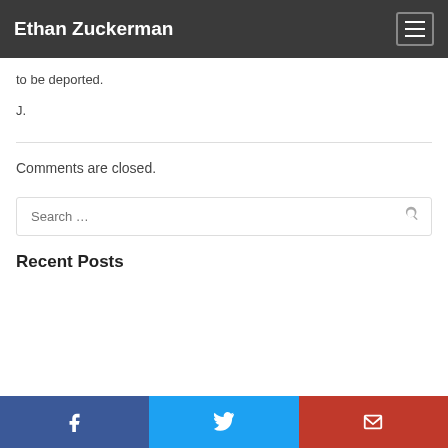Ethan Zuckerman
to be deported.
J.
Comments are closed.
Search ...
Recent Posts